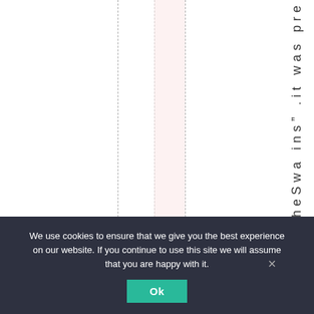[Figure (other): Document layout with dashed vertical column guide lines and a pink shaded column region, showing vertical rotated text reading 'heSwa ins" .it was pre' along the right side]
We use cookies to ensure that we give you the best experience on our website. If you continue to use this site we will assume that you are happy with it.
Ok